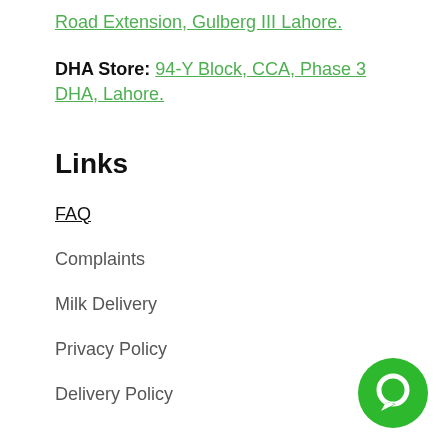Road Extension, Gulberg III Lahore.
DHA Store: 94-Y Block, CCA, Phase 3 DHA, Lahore.
Links
FAQ
Complaints
Milk Delivery
Privacy Policy
Delivery Policy
[Figure (illustration): Green circular chat/message button icon in the bottom right corner]